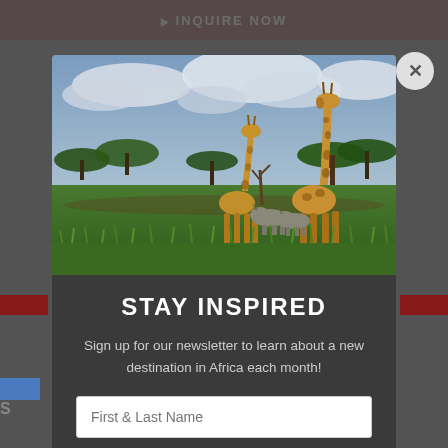INQUIRE NOW
[Figure (photo): Two giraffes standing on African savanna grassland with acacia trees and cloudy sky; two rhinos in the background at ground level]
STAY INSPIRED
Sign up for our newsletter to learn about a new destination in Africa each month!
First & Last Name